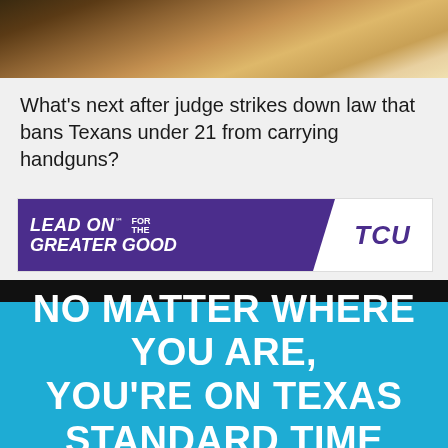[Figure (photo): Top portion of a photo showing a desk or wooden surface with dark objects, partially cropped]
What's next after judge strikes down law that bans Texans under 21 from carrying handguns?
[Figure (infographic): TCU advertisement banner: 'LEAD ON for the GREATER GOOD' with TCU logo in purple and white]
NO MATTER WHERE YOU ARE, YOU'RE ON TEXAS STANDARD TIME